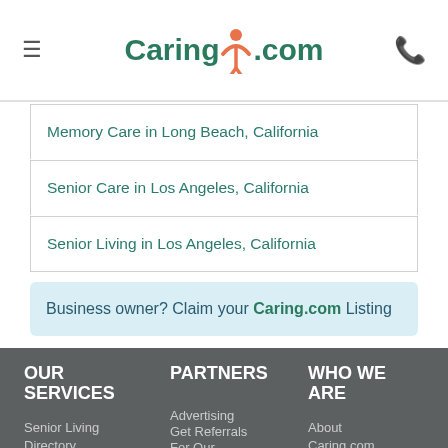Caring.com
Memory Care in Long Beach, California
Senior Care in Los Angeles, California
Senior Living in Los Angeles, California
Business owner? Claim your Caring.com Listing
OUR SERVICES
PARTNERS
WHO WE ARE
Advertising
Get Referrals
For Our
Senior Living Directory
About Caring.com